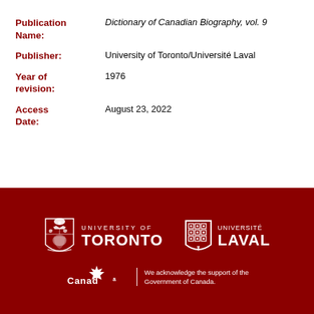| Publication Name: | Dictionary of Canadian Biography, vol. 9 |
| Publisher: | University of Toronto/Université Laval |
| Year of revision: | 1976 |
| Access Date: | August 23, 2022 |
[Figure (logo): University of Toronto logo with crest and wordmark on dark red background]
[Figure (logo): Université Laval shield logo and wordmark on dark red background]
[Figure (logo): Canada wordmark with maple leaf on dark red background]
We acknowledge the support of the Government of Canada.